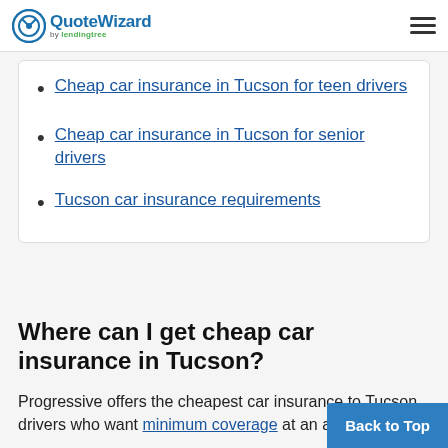QuoteWizard by lendingtree
Cheap car insurance in Tucson for teen drivers
Cheap car insurance in Tucson for senior drivers
Tucson car insurance requirements
Where can I get cheap car insurance in Tucson?
Progressive offers the cheapest car insurance to Tucson drivers who want minimum coverage at an avera...